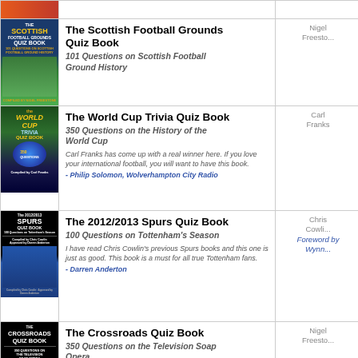| Cover | Title / Description | Author |
| --- | --- | --- |
| [orange cover image] | The Scottish Football Grounds Quiz Book
101 Questions on Scottish Football Ground History | Nigel Freesto... |
| [world cup trivia cover] | The World Cup Trivia Quiz Book
350 Questions on the History of the World Cup
Carl Franks has come up with a real winner here. If you love your international football, you will want to have this book.
- Philip Solomon, Wolverhampton City Radio | Carl Franks |
| [spurs quiz book cover] | The 2012/2013 Spurs Quiz Book
100 Questions on Tottenham's Season
I have read Chris Cowlin's previous Spurs books and this one is just as good. This book is a must for all true Tottenham fans.
- Darren Anderton | Chris Cowlin Foreword by Wynn... |
| [crossroads quiz book cover] | The Crossroads Quiz Book
350 Questions on the Television Soap Opera
Soap fans can take a trip back down memory lane.
- Elaine Penn, TV Choice Magazine | Nigel Freesto... |